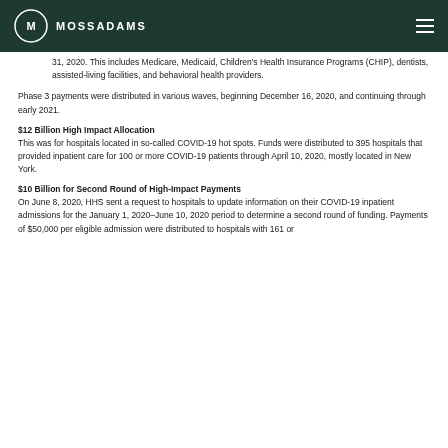MOSSADAMS
31, 2020. This includes Medicare, Medicaid, Children's Health Insurance Programs (CHIP), dentists, assisted-living facilities, and behavioral health providers.
Phase 3 payments were distributed in various waves, beginning December 16, 2020, and continuing through early 2021.
$12 Billion High Impact Allocation
This was for hospitals located in so-called COVID-19 hot spots. Funds were distributed to 395 hospitals that provided inpatient care for 100 or more COVID-19 patients through April 10, 2020, mostly located in New York.
$10 Billion for Second Round of High-Impact Payments
On June 8, 2020, HHS sent a request to hospitals to update information on their COVID-19 inpatient admissions for the January 1, 2020–June 10, 2020 period to determine a second round of funding. Payments of $50,000 per eligible admission were distributed to hospitals with 161 or